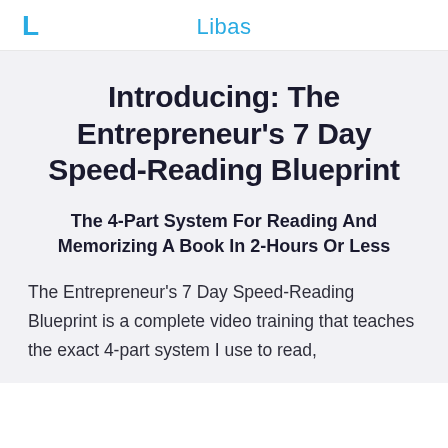L  Libas
Introducing: The Entrepreneur's 7 Day Speed-Reading Blueprint
The 4-Part System For Reading And Memorizing A Book In 2-Hours Or Less
The Entrepreneur's 7 Day Speed-Reading Blueprint is a complete video training that teaches the exact 4-part system I use to read,